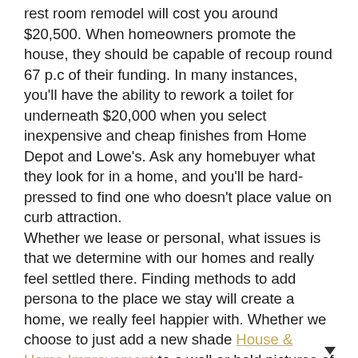rest room remodel will cost you around $20,500. When homeowners promote the house, they should be capable of recoup round 67 p.c of their funding. In many instances, you'll have the ability to rework a toilet for underneath $20,000 when you select inexpensive and cheap finishes from Home Depot and Lowe's. Ask any homebuyer what they look for in a home, and you'll be hard-pressed to find one who doesn't place value on curb attraction.
Whether we lease or personal, what issues is that we determine with our homes and really feel settled there. Finding methods to add persona to the place we stay will create a home, we really feel happier with. Whether we choose to just add a new shade House & Home Improvement to a wall or hold pictures of our loved ones or whether we do a total make-over of our home is a personal choice. Home renovation fanatics are all